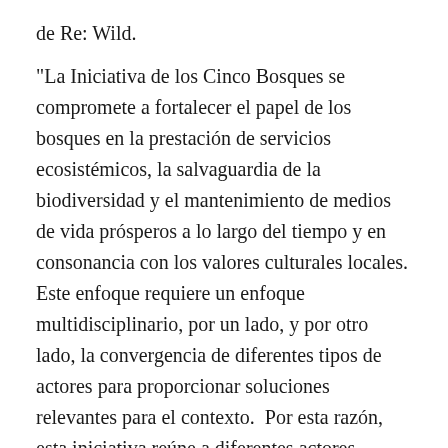de Re: Wild. "La Iniciativa de los Cinco Bosques se compromete a fortalecer el papel de los bosques en la prestación de servicios ecosistémicos, la salvaguardia de la biodiversidad y el mantenimiento de medios de vida prósperos a lo largo del tiempo y en consonancia con los valores culturales locales. Este enfoque requiere un enfoque multidisciplinario, por un lado, y por otro lado, la convergencia de diferentes tipos de actores para proporcionar soluciones relevantes para el contexto.  Por esta razón, esta iniciativa reúne a diferentes actores (gobiernos, sociedad civil, organizaciones de investigación, expertos en conservación ambiental y pueblos locales e